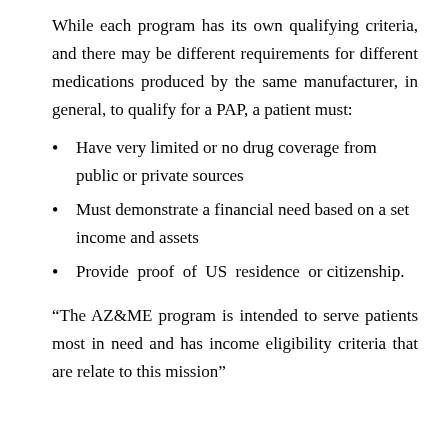While each program has its own qualifying criteria, and there may be different requirements for different medications produced by the same manufacturer, in general, to qualify for a PAP, a patient must:
Have very limited or no drug coverage from public or private sources
Must demonstrate a financial need based on a set income and assets
Provide proof of US residence or citizenship.
“The AZ&ME program is intended to serve patients most in need and has income eligibility criteria that are relate to this mission”